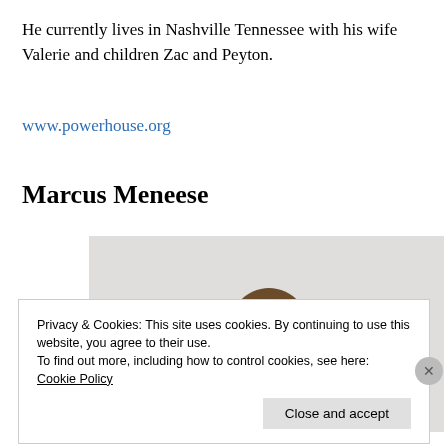He currently lives in Nashville Tennessee with his wife Valerie and children Zac and Peyton.
www.powerhouse.org
Marcus Meneese
[Figure (photo): Portrait photo of Marcus Meneese, a man in a white and black garment with a dark tie, light background]
Privacy & Cookies: This site uses cookies. By continuing to use this website, you agree to their use.
To find out more, including how to control cookies, see here: Cookie Policy
Close and accept